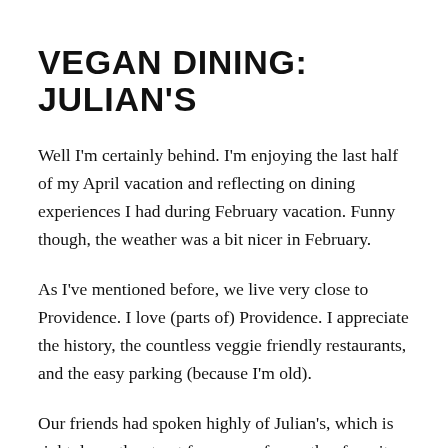VEGAN DINING: JULIAN'S
Well I'm certainly behind.  I'm enjoying the last half of my April vacation and reflecting on dining experiences I had during February vacation.  Funny though, the weather was a bit nicer in February.
As I've mentioned before, we live very close to Providence.  I love (parts of) Providence.  I appreciate the history, the countless veggie friendly restaurants, and the easy parking (because I'm old).
Our friends had spoken highly of Julian's, which is right down the street from one of our other favorite